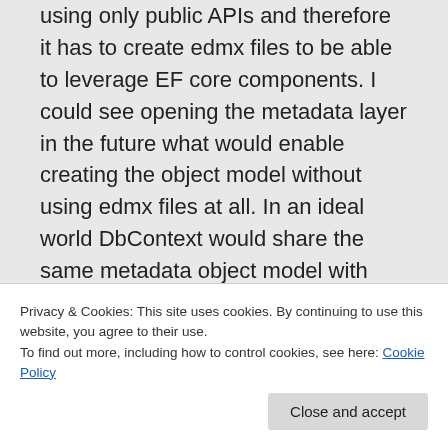using only public APIs and therefore it has to create edmx files to be able to leverage EF core components. I could see opening the metadata layer in the future what would enable creating the object model without using edmx files at all. In an ideal world DbContext would share the same metadata object model with ObjectContext and no conversion would be needed. Views are a bit different than generating
Privacy & Cookies: This site uses cookies. By continuing to use this website, you agree to their use. To find out more, including how to control cookies, see here: Cookie Policy
generation took literary tens of minutes. In